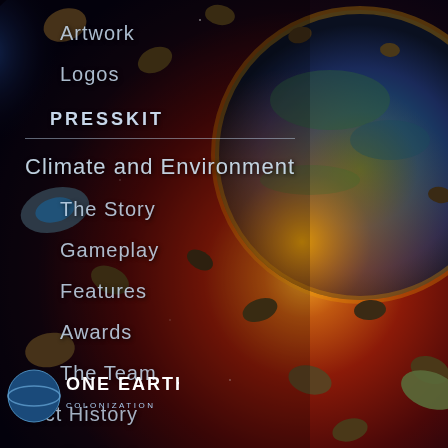[Figure (screenshot): Space scene background with planet, asteroids, and spacecraft. Deep space with reddish-orange atmospheric glow behind a large planet on the right side.]
Artwork
Logos
PRESSKIT
Climate and Environment
The Story
Gameplay
Features
Awards
The Team
...ct History
Contact
[Figure (logo): ONE EARTH - COLONIZATION game logo in bottom left corner]